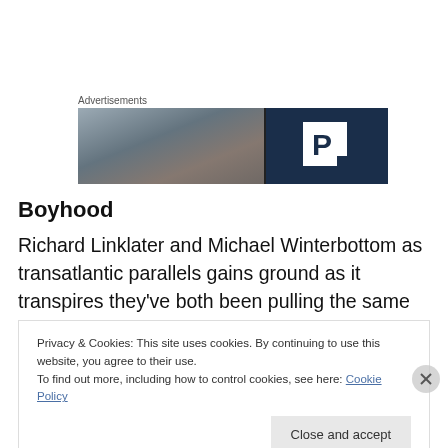Advertisements
[Figure (photo): Advertisement banner with blurred photo on left (showing a person) and dark navy blue right panel with white letter P parking icon]
Boyhood
Richard Linklater and Michael Winterbottom as transatlantic parallels gains ground as it transpires they've both been pulling the same trick over the last decade.
Privacy & Cookies: This site uses cookies. By continuing to use this website, you agree to their use.
To find out more, including how to control cookies, see here: Cookie Policy